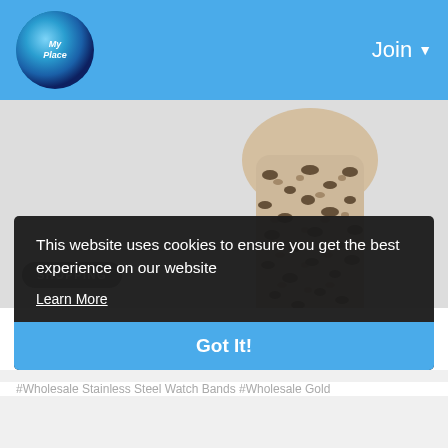My Place | Join
[Figure (photo): Leopard print fabric/watch band product image on light grey background]
SHOPPING
Wholesale White Gold Gold / White Gold Watch Bands W8000006
#Wholesale Stainless Steel Watch Bands #Wholesale Gold
This website uses cookies to ensure you get the best experience on our website
Learn More
Got It!